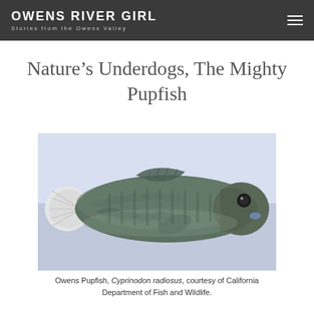OWENS RIVER GIRL
Stories from the Owens Valley
Nature's Underdogs, The Mighty Pupfish
[Figure (photo): Close-up photograph of an Owens Pupfish (Cyprinodon radiosus), a small olive-green fish shown in profile against a light blue/white background. The fish has a rounded body with visible scales, fins, and a distinctive eye.]
Owens Pupfish, Cyprinodon radiosus, courtesy of California Department of Fish and Wildlife.